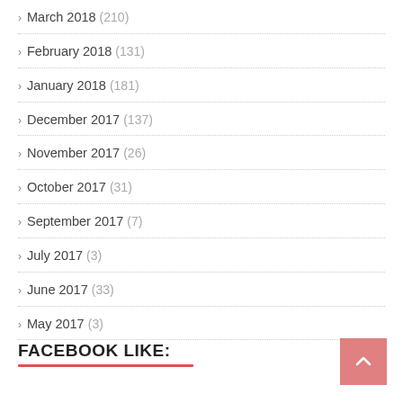March 2018 (210)
February 2018 (131)
January 2018 (181)
December 2017 (137)
November 2017 (26)
October 2017 (31)
September 2017 (7)
July 2017 (3)
June 2017 (33)
May 2017 (3)
FACEBOOK LIKE: